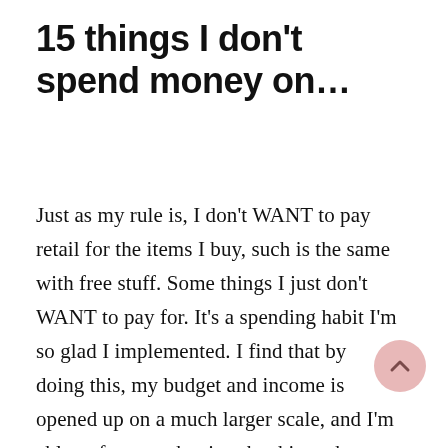15 things I don't spend money on…
Just as my rule is, I don't WANT to pay retail for the items I buy, such is the same with free stuff. Some things I just don't WANT to pay for. It's a spending habit I'm so glad I implemented. I find that by doing this, my budget and income is opened up on a much larger scale, and I'm able to focus on buying the things that